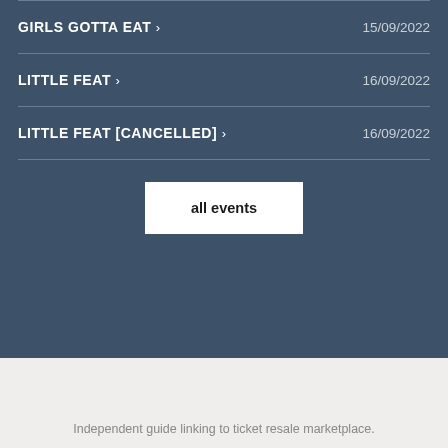GIRLS GOTTA EAT › 15/09/2022
LITTLE FEAT › 16/09/2022
LITTLE FEAT [CANCELLED] › 16/09/2022
all events
Independent guide linking to ticket resale marketplace.